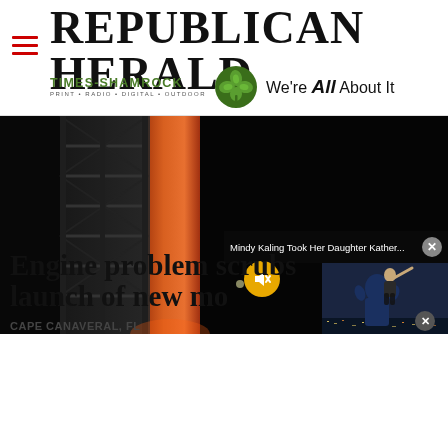Republican Herald
[Figure (logo): Times-Shamrock logo with shamrock graphic and tagline PRINT • RADIO • DIGITAL • OUTDOOR and 'We're All About It']
[Figure (photo): Night photo of NASA rocket on launch pad with orange fuel tank and scaffolding structure]
[Figure (screenshot): Video popup overlay showing 'Mindy Kaling Took Her Daughter Kather...' with close button and muted video showing person with child pointing at city lights]
Engine problem scrubs launch of new mo
CAPE CANAVERAL, FL